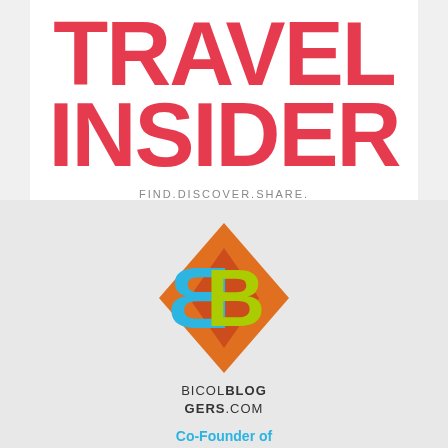TRAVEL INSIDER
FIND.DISCOVER.SHARE.
[Figure (logo): Bicol Bloggers logo: two overlapping 'B' letters in blue and lime green on an orange/red diamond background]
BICOLBLOGGERS.COM
Co-Founder of Bicol Bloggers